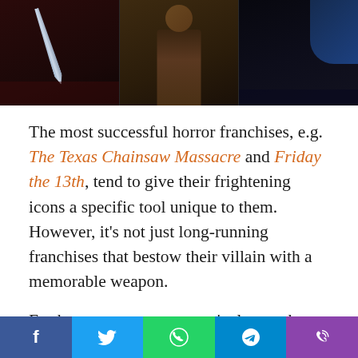[Figure (photo): Three horror movie villain panels side by side: left panel shows a knife/blade, middle panel shows a costumed figure, right panel shows a dark figure with blue tones.]
The most successful horror franchises, e.g. The Texas Chainsaw Massacre and Friday the 13th, tend to give their frightening icons a specific tool unique to them. However, it's not just long-running franchises that bestow their villain with a memorable weapon.
Furthermore, weapons aren't always sharp or blunt objects, sometimes they can be internal. It all depends on what the antagonist or pseudo-antagonist is trying to accomplish. Sometimes that can be stalking counselors at Camp Crystal Lake. Other times it can be an attempt to dissuade bullies from being themselves. Either way, the
[Figure (infographic): Social media share bar with Facebook (blue), Twitter (light blue), WhatsApp (green), Telegram (blue), and phone/viber (purple) buttons.]